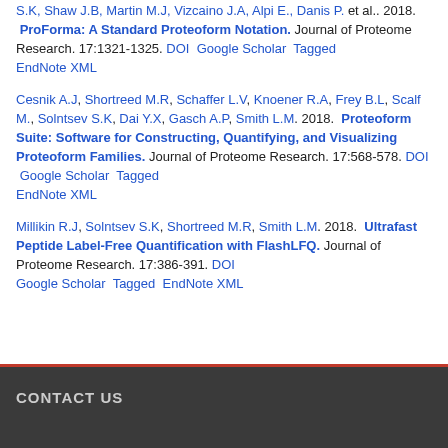S.K, Shaw J.B, Martin M.J, Vizcaino J.A, Alpi E., Danis P. et al.. 2018. ProForma: A Standard Proteoform Notation. Journal of Proteome Research. 17:1321-1325. DOI Google Scholar Tagged EndNote XML
Cesnik A.J, Shortreed M.R, Schaffer L.V, Knoener R.A, Frey B.L, Scalf M., Solntsev S.K, Dai Y.X, Gasch A.P, Smith L.M. 2018. Proteoform Suite: Software for Constructing, Quantifying, and Visualizing Proteoform Families. Journal of Proteome Research. 17:568-578. DOI Google Scholar Tagged EndNote XML
Millikin R.J, Solntsev S.K, Shortreed M.R, Smith L.M. 2018. Ultrafast Peptide Label-Free Quantification with FlashLFQ. Journal of Proteome Research. 17:386-391. DOI Google Scholar Tagged EndNote XML
CONTACT US